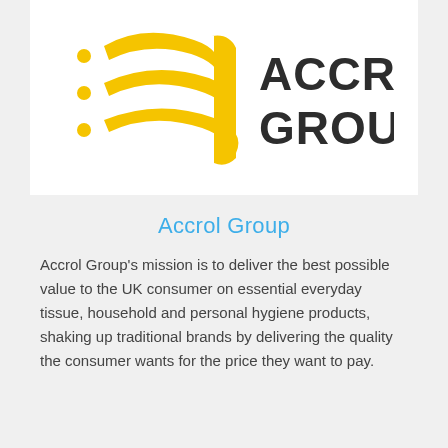[Figure (logo): Accrol Group logo — yellow stylized leaf/feather mark on the left, with bold dark text 'ACCROL GROUP' on the right]
Accrol Group
Accrol Group's mission is to deliver the best possible value to the UK consumer on essential everyday tissue, household and personal hygiene products, shaking up traditional brands by delivering the quality the consumer wants for the price they want to pay.